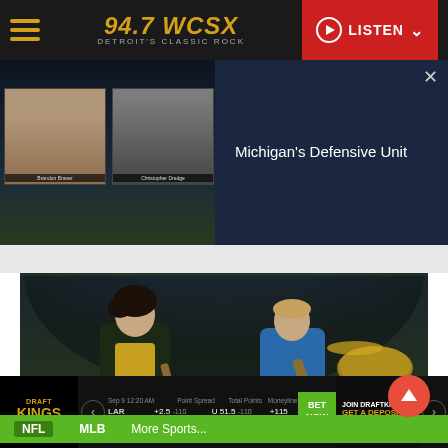94.7 WCSX — DETROIT'S CLASSIC ROCK | LISTEN
[Figure (screenshot): Video thumbnail showing two radio hosts in a split-screen video with starry background, labeled 'Michigan's Defensive Unit' with a close button X]
[Figure (photo): Concert photo showing two rock musicians on stage performing, one in a dark jacket and yellow shirt, another in a blue shirt playing guitar, with drum kit in background]
NFL   MLB   More Sports...   DraftKings Sportsbook — LAR +2.5 -110 / BUF -2.5 -110 | U 51.5 -110 / O 51.5 -110 | +115 / -135 | BET NOW | JOIN DRAFTKI  GET A DEPOSI  View Full Terms